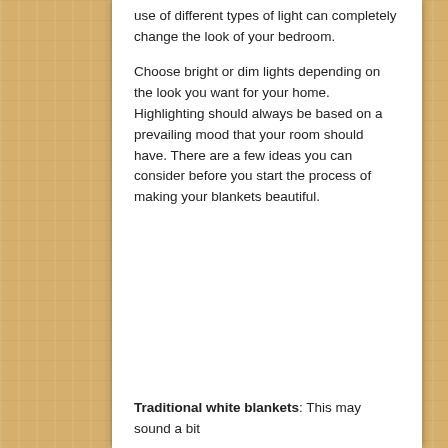use of different types of light can completely change the look of your bedroom.
Choose bright or dim lights depending on the look you want for your home. Highlighting should always be based on a prevailing mood that your room should have. There are a few ideas you can consider before you start the process of making your blankets beautiful.
Traditional white blankets: This may sound a bit